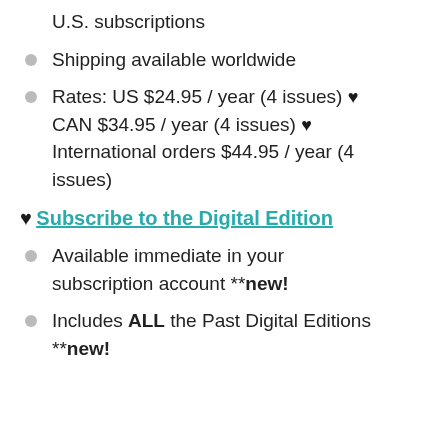U.S. subscriptions
Shipping available worldwide
Rates: US $24.95 / year (4 issues) ♥ CAN $34.95 / year (4 issues) ♥ International orders $44.95 / year (4 issues)
♥ Subscribe to the Digital Edition
Available immediate in your subscription account **new!
Includes ALL the Past Digital Editions **new!